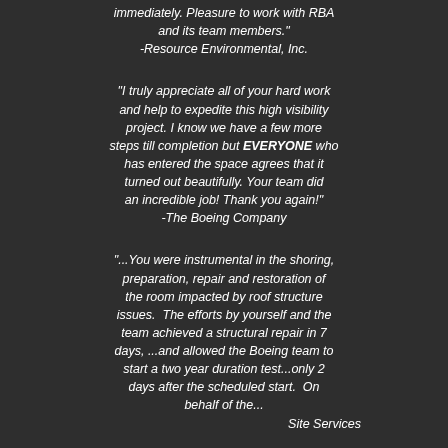immediately. Pleasure to work with RBA and its team members." -Resource Environmental, Inc.
"I truly appreciate all of your hard work and help to expedite this high visibility project. I know we have a few more steps till completion but EVERYONE who has entered the space agrees that it turned out beautifully. Your team did an incredible job! Thank you again!" -The Boeing Company
"...You were instrumental in the shoring, preparation, repair and restoration of the room impacted by roof structure issues.  The efforts by yourself and the team achieved a structural repair in 7 days, ...and allowed the Boeing team to start a two year duration test...only 2 days after the scheduled start.  On behalf of the... Site Services